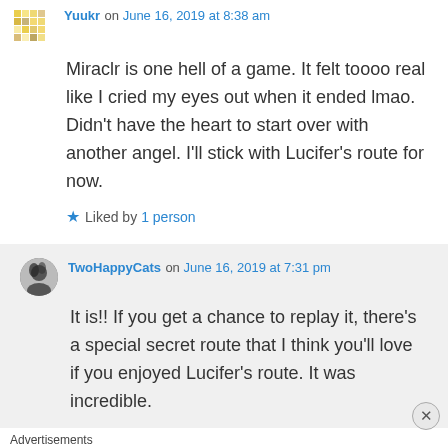Yuukr on June 16, 2019 at 8:38 am
Miraclr is one hell of a game. It felt toooo real like I cried my eyes out when it ended lmao. Didn't have the heart to start over with another angel. I'll stick with Lucifer's route for now.
Liked by 1 person
TwoHappyCats on June 16, 2019 at 7:31 pm
It is!! If you get a chance to replay it, there's a special secret route that I think you'll love if you enjoyed Lucifer's route. It was incredible.
Advertisements